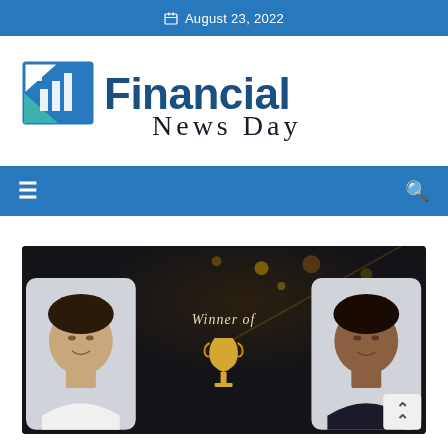August 23, 2022
[Figure (logo): Financial News Day logo with bar chart icon in blue and teal, bold blue 'Financial' text and serif 'News Day' text]
[Figure (infographic): Navigation bar with hamburger menu icon on left and search icon on right, blue background]
[Figure (photo): Hero image showing two people's headshots on dark background with 'Winner of' text and gold trophy icon in center, and a back-to-top button]